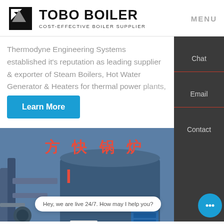[Figure (logo): TOBO BOILER logo with geometric black icon and text: TOBO BOILER / COST-EFFECTIVE BOILER SUPPLIER]
MENU
Thermodyne Engineering Systems established it's reputation as leading supplier & exporter of Steam Boilers, Hot Water Generator & Heaters for thermal power plants, steal & …
Learn More
Chat
Email
Contact
[Figure (photo): Industrial boiler unit in a factory setting with Chinese characters 方快锅炉 written in red on the blue boiler body. Pipes and equipment visible.]
Hey, we are live 24/7. How may I help you?